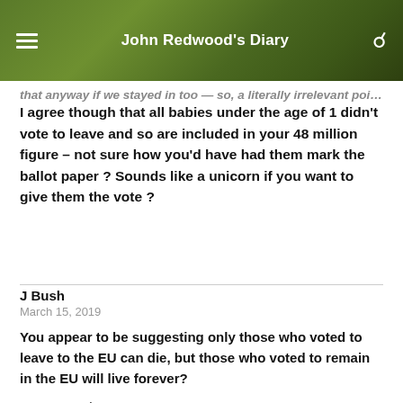John Redwood's Diary
that anyway if we stayed in too — so, a literally irrelevant point.
I agree though that all babies under the age of 1 didn't vote to leave and so are included in your 48 million figure – not sure how you'd have had them mark the ballot paper ? Sounds like a unicorn if you want to give them the vote ?
J Bush
March 15, 2019
You appear to be suggesting only those who voted to leave to the EU can die, but those who voted to remain in the EU will live forever?
Wow, amazing